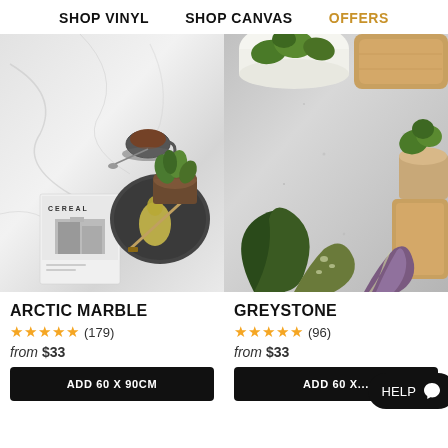SHOP VINYL   SHOP CANVAS   OFFERS
[Figure (photo): Arctic Marble texture — overhead flat lay with Cereal magazine, a cup of tea, a dark plate with a pear slice and knife, and a small succulent plant on white marble surface]
[Figure (photo): Greystone texture — overhead flat lay with various green plants, succulents, a wooden cutting board on grey stone/concrete surface]
ARCTIC MARBLE
★★★★★ (179)
from $33
ADD 60 X 90CM
GREYSTONE
★★★★★ (96)
from $33
ADD 60 X...
Help